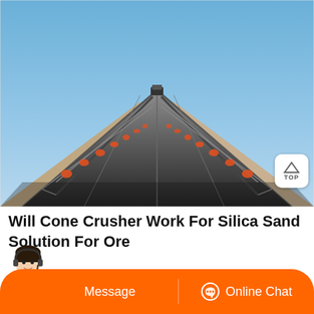[Figure (photo): Perspective view looking down a long industrial conveyor belt elevated above ground level, with metal railings on both sides painted orange/red, clear blue sky in the background, and a vehicle visible at the far end. Photo taken from the lower end of the belt looking upward.]
Will Cone Crusher Work For Silica Sand Solution For Ore
Silica Sand Processing Plant Flow chart Gold ore crusher,mining In
[Figure (screenshot): Website bottom navigation bar with orange background showing a customer service avatar (woman with headset), a 'Message' button, and an 'Online Chat' button with chat icon.]